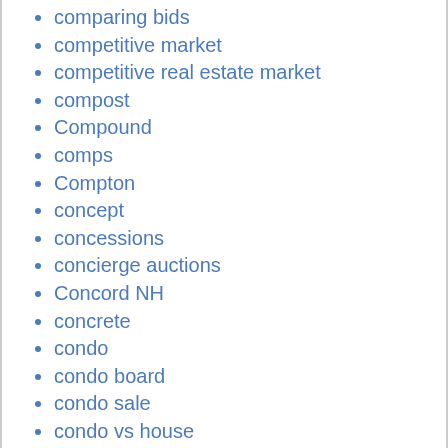comparing bids
competitive market
competitive real estate market
compost
Compound
comps
Compton
concept
concessions
concierge auctions
Concord NH
concrete
condo
condo board
condo sale
condo vs house
condominium
condos
conforming loan limit